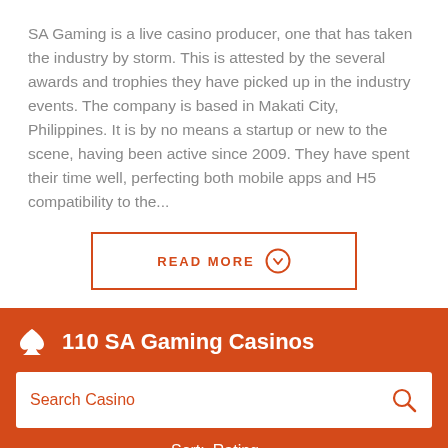SA Gaming is a live casino producer, one that has taken the industry by storm. This is attested by the several awards and trophies they have picked up in the industry events. The company is based in Makati City, Philippines. It is by no means a startup or new to the scene, having been active since 2009. They have spent their time well, perfecting both mobile apps and H5 compatibility to the...
READ MORE
110 SA Gaming Casinos
Search Casino
Sort:  Rating
We are online!